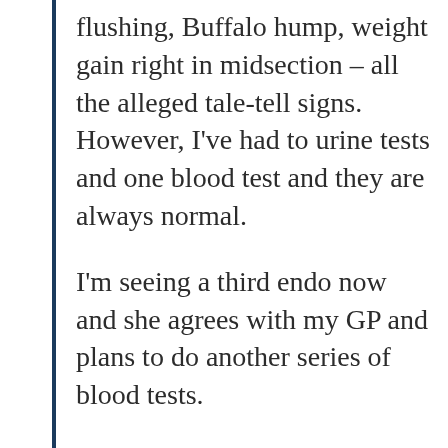flushing, Buffalo hump, weight gain right in midsection – all the alleged tale-tell signs. However, I've had to urine tests and one blood test and they are always normal.
I'm seeing a third endo now and she agrees with my GP and plans to do another series of blood tests.
I guess my question is has anyone else out there ever had initial normal cortisol test results only to later find out it's Cushings?